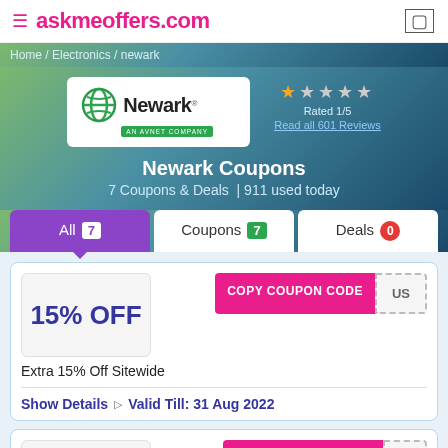≡ askmeoffers.com
Home / Electronics / newark
[Figure (logo): Newark An Avnet Company logo with green globe icon]
Rated 1/5
Read all 601 Reviews
Newark Coupons
7 Coupons & Deals  | 911 used today
All 7   Coupons 7   Deals 0
COPY COUPON CODE
15% OFF
Extra 15% Off Sitewide
Show Details   ▷   Valid Till: 31 Aug 2022
COPY COUPON CODE